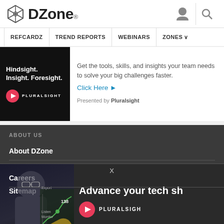[Figure (logo): DZone logo with hexagonal icon on the left and 'DZone.' text on the right]
REFCARDZ   TREND REPORTS   WEBINARS   ZONES
[Figure (infographic): Pluralsight advertisement: black box with 'Hindsight. Insight. Foresight.' text and Pluralsight logo, with text 'Get the tools, skills, and insights your team needs to solve your big challenges faster. Click Here. Presented by Pluralsight']
Get the tools, skills, and insights your team needs to solve your big challenges faster.
Click Here ▶
Presented by Pluralsight
ABOUT US
About DZone
Send feedback
Ca...
Sit...
AD...
Advertise with DZone
[Figure (infographic): Pluralsight popup ad: person wearing glasses with a dark background chart showing '138' label, text 'Advance your tech sh' and Pluralsight logo with 'X' close button]